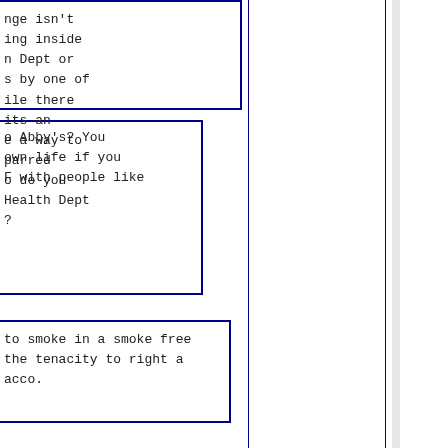nge isn't
ing inside
n Dept or
s by one of
ile there
its an
e a way to
parred
o do you
Health Dept
?
o Abby's? You
own life if you
F with people like
to smoke in a smoke free
the tenacity to right a
acco.